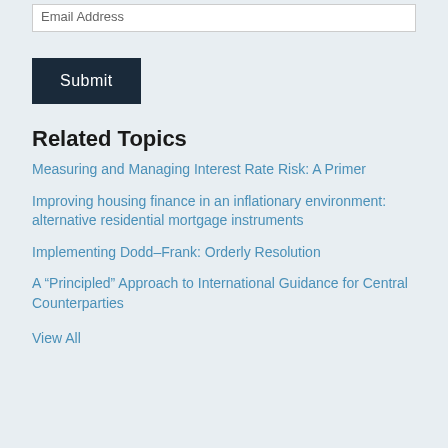Email Address
Submit
Related Topics
Measuring and Managing Interest Rate Risk: A Primer
Improving housing finance in an inflationary environment: alternative residential mortgage instruments
Implementing Dodd–Frank: Orderly Resolution
A “Principled” Approach to International Guidance for Central Counterparties
View All